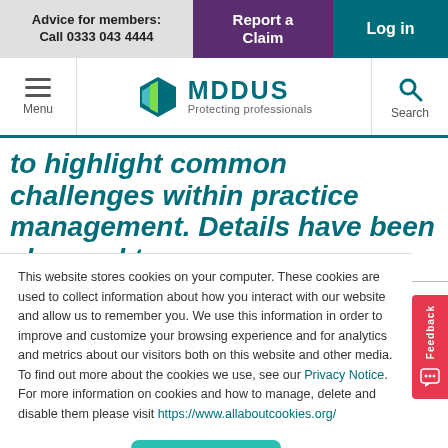Advice for members: Call 0333 043 4444
Report a Claim
Log in
[Figure (logo): MDDUS logo with shield icon and tagline Protecting professionals]
to highlight common challenges within practice management. Details have been changed to
This website stores cookies on your computer. These cookies are used to collect information about how you interact with our website and allow us to remember you. We use this information in order to improve and customize your browsing experience and for analytics and metrics about our visitors both on this website and other media. To find out more about the cookies we use, see our Privacy Notice. For more information on cookies and how to manage, delete and disable them please visit https://www.allaboutcookies.org/